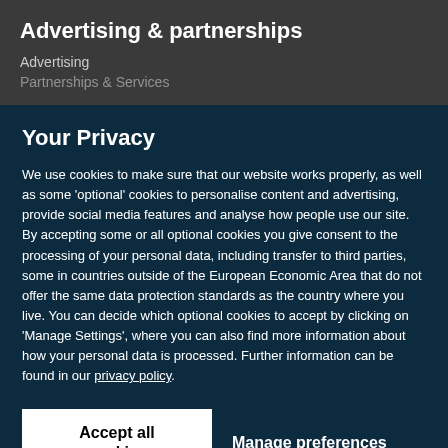Advertising & partnerships
Advertising
Partnerships & Services
Your Privacy
We use cookies to make sure that our website works properly, as well as some 'optional' cookies to personalise content and advertising, provide social media features and analyse how people use our site. By accepting some or all optional cookies you give consent to the processing of your personal data, including transfer to third parties, some in countries outside of the European Economic Area that do not offer the same data protection standards as the country where you live. You can decide which optional cookies to accept by clicking on 'Manage Settings', where you can also find more information about how your personal data is processed. Further information can be found in our privacy policy.
Accept all cookies
Manage preferences